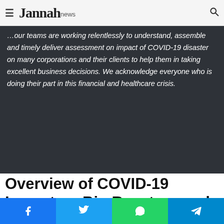Jannah news
…our teams are working relentlessly to understand, assemble and timely deliver assessment on impact of COVID-19 disaster on many corporations and their clients to help them in taking excellent business decisions. We acknowledge everyone who is doing their part in this financial and healthcare crisis.
Overview of COVID-19 Impact on Bio Reactors and Fermentors Market